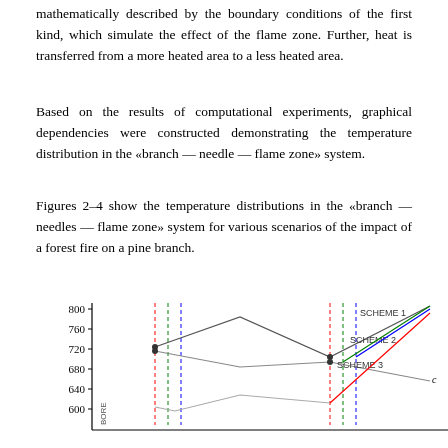mathematically described by the boundary conditions of the first kind, which simulate the effect of the flame zone. Further, heat is transferred from a more heated area to a less heated area.
Based on the results of computational experiments, graphical dependencies were constructed demonstrating the temperature distribution in the «branch — needle — flame zone» system.
Figures 2–4 show the temperature distributions in the «branch — needles — flame zone» system for various scenarios of the impact of a forest fire on a pine branch.
[Figure (line-chart): Partial line chart showing temperature distributions for SCHEME 1, SCHEME 2, and SCHEME 3. Y-axis shows values from approximately 560 to 800. The chart is cropped at the bottom.]